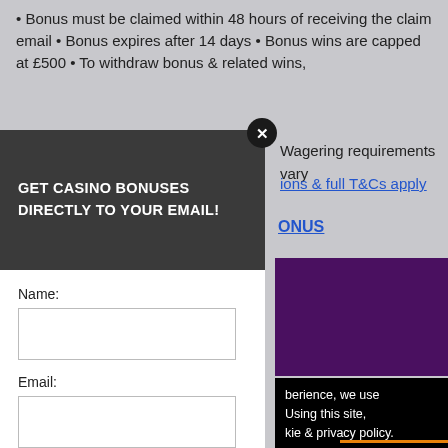• Bonus must be claimed within 48 hours of receiving the claim email • Bonus expires after 14 days • Bonus wins are capped at £500 • To withdraw bonus & related wins, • Wagering requirements vary ions & full T&Cs apply
GET CASINO BONUSES
DIRECTLY TO YOUR EMAIL!
ONUS
[Figure (screenshot): Purple promotional banner box]
berience, we use
Using this site,
kie & privacy policy.
[Figure (screenshot): Yellow button box]
Name:
Email:
Submit
By subscribing you are certifying that you have reviewed and accepted our updated Privacy and Cookie policy.
$25 no deposit bonus to all